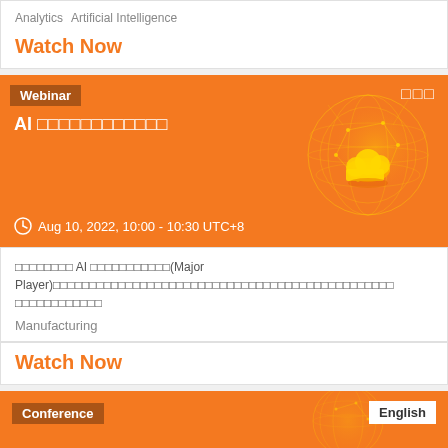Analytics   Artificial Intelligence
Watch Now
[Figure (illustration): Orange webinar banner with globe/network illustration, showing 'Webinar' badge, Thai-language AI title, clock icon, and date Aug 10, 2022, 10:00 - 10:30 UTC+8]
ออออออออ AI ออออออออออ(Major Player)ออออออออออออออออออออออออออออออออออออออออออออออออ ออออออออออออ
Manufacturing
Watch Now
[Figure (illustration): Orange conference banner with globe illustration, 'Conference' badge, and 'English' language button]